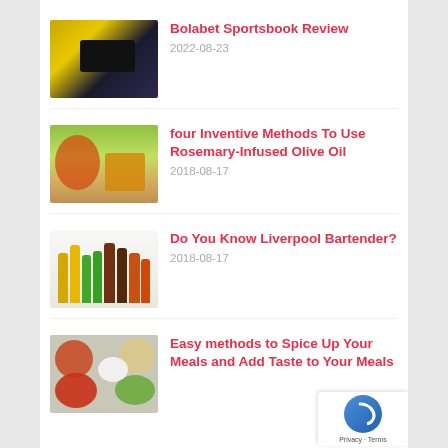[Figure (photo): Laptop or gaming screen with yellow/dark background - sportsbook interface]
Bolabet Sportsbook Review
2022-08-23
[Figure (photo): Food items including cheese, pomegranates, and produce on a wooden board]
four Inventive Methods To Use Rosemary-Infused Olive Oil
2018-08-17
[Figure (photo): Various bottles of oils and condiments arranged together]
Do You Know Liverpool Bartender?
2018-08-17
[Figure (photo): Various food ingredients including tomatoes, herbs, oils and spices in bowls]
Easy methods to Spice Up Your Meals and Add Taste to Your Meals